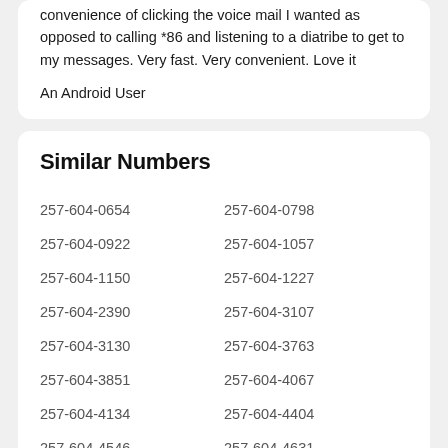convenience of clicking the voice mail I wanted as opposed to calling *86 and listening to a diatribe to get to my messages. Very fast. Very convenient. Love it
An Android User
Similar Numbers
257-604-0654
257-604-0798
257-604-0922
257-604-1057
257-604-1150
257-604-1227
257-604-2390
257-604-3107
257-604-3130
257-604-3763
257-604-3851
257-604-4067
257-604-4134
257-604-4404
257-604-4546
257-604-4631
257-604-5232
257-604-5250